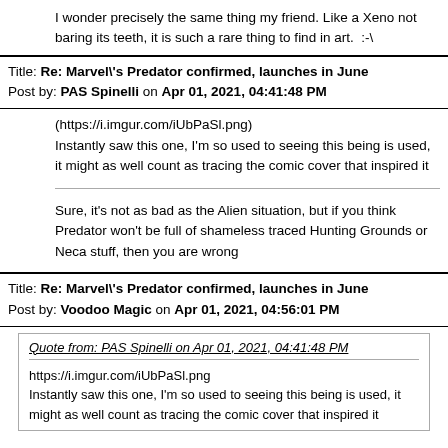I wonder precisely the same thing my friend. Like a Xeno not baring its teeth, it is such a rare thing to find in art.  :-\
Title: Re: Marvel\s Predator confirmed, launches in June
Post by: PAS Spinelli on Apr 01, 2021, 04:41:48 PM
(https://i.imgur.com/iUbPaSl.png)
Instantly saw this one, I'm so used to seeing this being is used, it might as well count as tracing the comic cover that inspired it
Sure, it's not as bad as the Alien situation, but if you think Predator won't be full of shameless traced Hunting Grounds or Neca stuff, then you are wrong
Title: Re: Marvel\s Predator confirmed, launches in June
Post by: Voodoo Magic on Apr 01, 2021, 04:56:01 PM
Quote from: PAS Spinelli on Apr 01, 2021, 04:41:48 PM

https://i.imgur.com/iUbPaSl.png
Instantly saw this one, I'm so used to seeing this being is used, it might as well count as tracing the comic cover that inspired it